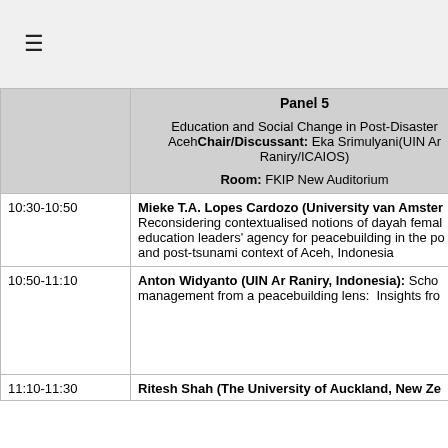≡
| Time | Panel 5 Content |
| --- | --- |
|  | Panel 5
Education and Social Change in Post-Disaster Aceh
Chair/Discussant: Eka Srimulyani(UIN Ar Raniry/ICAIOS)
Room: FKIP New Auditorium |
| 10:30-10:50 | Mieke T.A. Lopes Cardozo (University van Amsterdam): Reconsidering contextualised notions of dayah female education leaders' agency for peacebuilding in the post-conflict and post-tsunami context of Aceh, Indonesia |
| 10:50-11:10 | Anton Widyanto (UIN Ar Raniry, Indonesia): School management from a peacebuilding lens: Insights from... |
| 11:10-11:30 | Ritesh Shah (The University of Auckland, New Zealand):... |